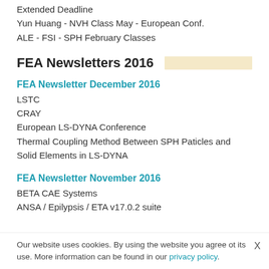Extended Deadline
Yun Huang - NVH Class May - European Conf.
ALE - FSI - SPH February Classes
FEA Newsletters 2016
FEA Newsletter December 2016
LSTC
CRAY
European LS-DYNA Conference
Thermal Coupling Method Between SPH Paticles and Solid Elements in LS-DYNA
FEA Newsletter November 2016
BETA CAE Systems
ANSA / Epilypsis / ETA v17.0.2 suite
Our website uses cookies. By using the website you agree ot its use. More information can be found in our privacy policy.